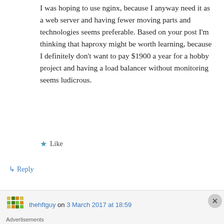I was hoping to use nginx, because I anyway need it as a web server and having fewer moving parts and technologies seems preferable. Based on your post I'm thinking that haproxy might be worth learning, because I definitely don't want to pay $1900 a year for a hobby project and having a load balancer without monitoring seems ludicrous.
★ Like
↳ Reply
thehftguy on 3 March 2017 at 18:59
Advertisements
[Figure (photo): MAC Cosmetics advertisement showing lipsticks in purple, pink, and red with the MAC logo and SHOP NOW button]